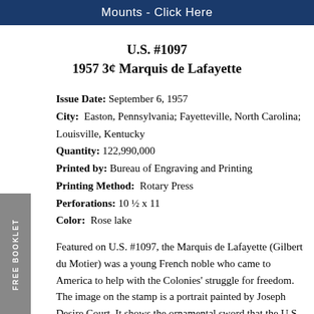Mounts - Click Here
U.S. #1097
1957 3¢ Marquis de Lafayette
Issue Date: September 6, 1957
City: Easton, Pennsylvania; Fayetteville, North Carolina; Louisville, Kentucky
Quantity: 122,990,000
Printed by: Bureau of Engraving and Printing
Printing Method: Rotary Press
Perforations: 10 ½ x 11
Color: Rose lake
Featured on U.S. #1097, the Marquis de Lafayette (Gilbert du Motier) was a young French noble who came to America to help with the Colonies' struggle for freedom. The image on the stamp is a portrait painted by Joseph Desire Court. It shows the ornamental sword that the U.S. government presented to Lafayette in thanks for